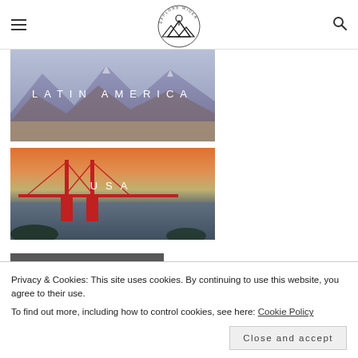Explore Wider — navigation header with logo, hamburger menu, and search icon
[Figure (photo): Latin America banner image showing mountain landscape with text 'LATIN AMERICA' overlaid in white spaced letters]
[Figure (photo): USA banner image showing Golden Gate Bridge at sunset with text 'USA' overlaid in white spaced letters]
[Figure (other): Dark grey widget bar with a gold/orange icon on left side]
[Figure (other): Dark grey bar with white bold text 'Simple &']
Privacy & Cookies: This site uses cookies. By continuing to use this website, you agree to their use.
To find out more, including how to control cookies, see here: Cookie Policy
Close and accept